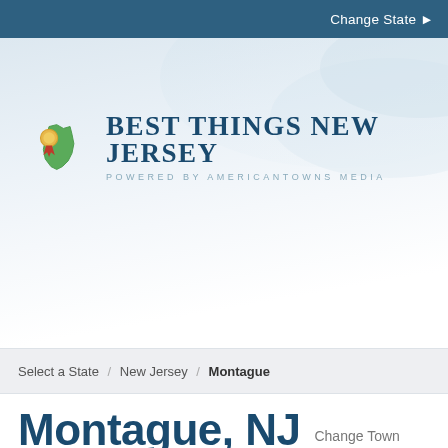Change State ▶
[Figure (logo): Best Things New Jersey logo with NJ state shape icon and ribbon/medal. Text reads: BEST THINGS NEW JERSEY powered by AmericanTowns Media]
Select a State / New Jersey / Montague
Montague, NJ   Change Town